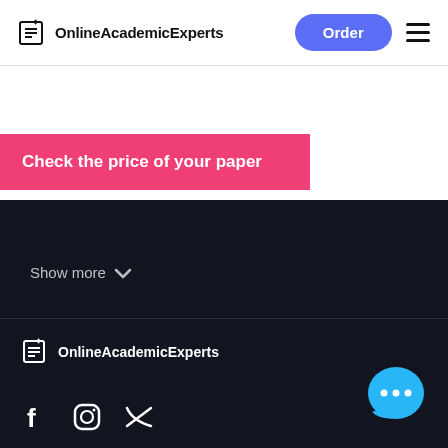OnlineAcademicExperts
Check the price of your paper
Show more
[Figure (logo): OnlineAcademicExperts footer logo with icon]
[Figure (illustration): Social media icons: Facebook, Instagram, Twitter]
[Figure (illustration): Blue chat bubble with three dots]